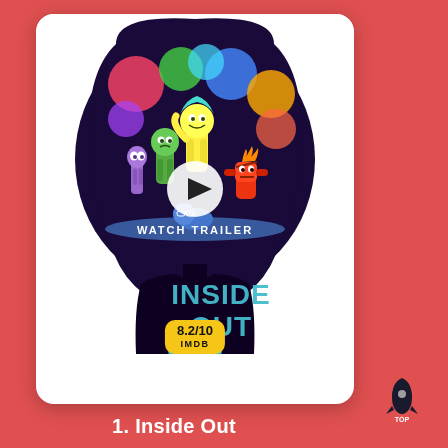[Figure (illustration): Inside Out movie poster card showing animated emotion characters inside a girl's head silhouette, with a play button overlay and 'WATCH TRAILER' text. Teal circle score badge showing 7.0 and yellow IMDB badge showing 8.2/10]
1. Inside Out
[Figure (logo): Rocket TOP logo in bottom right corner]